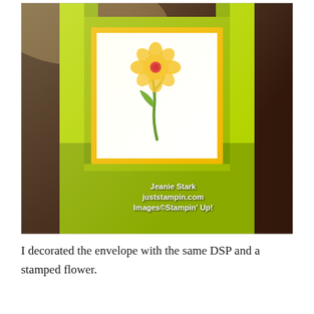[Figure (photo): A photograph of a handmade card or gift box made from lime green cardstock, shaped like a tote or bag with two upright flap panels on either side. In the center is a white card panel bordered in yellow, featuring a stamped yellow flower with a red center and green stem/leaves. The item sits on a dark wood surface. Watermark text reads: Jeanie Stark, juststampin.com, Images©Stampin' Up!]
I decorated the envelope with the same DSP and a stamped flower.